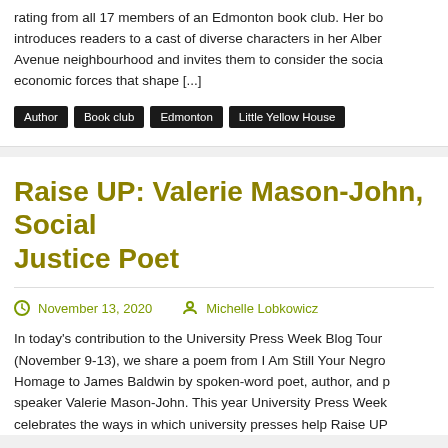rating from all 17 members of an Edmonton book club. Her book introduces readers to a cast of diverse characters in her Alberta Avenue neighbourhood and invites them to consider the social economic forces that shape [...]
Author
Book club
Edmonton
Little Yellow House
Raise UP: Valerie Mason-John, Social Justice Poet
November 13, 2020   Michelle Lobkowicz
In today's contribution to the University Press Week Blog Tour (November 9-13), we share a poem from I Am Still Your Negro: Homage to James Baldwin by spoken-word poet, author, and public speaker Valerie Mason-John. This year University Press Week celebrates the ways in which university presses help Raise UP